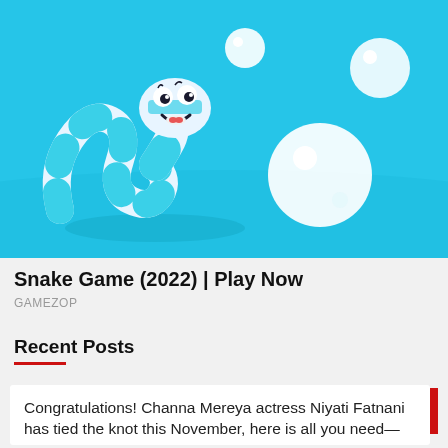[Figure (screenshot): Snake game illustration showing a white and teal-striped cartoon snake with a smiling face on a bright blue background, with white ball objects nearby.]
Snake Game (2022) | Play Now
GAMEZOP
Recent Posts
Congratulations! Channa Mereya actress Niyati Fatnani has tied the knot this November, here is all you need to know—